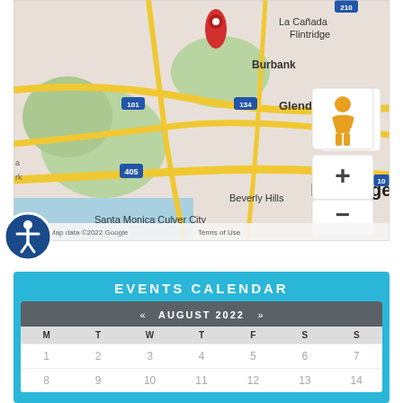[Figure (map): Google Maps screenshot showing the Los Angeles area including Burbank, Glendale, Beverly Hills, Santa Monica, Culver City, with a red location pin marker. Map data ©2022 Google. Includes zoom controls (+/-) and a Street View pegman icon.]
EVENTS CALENDAR
| M | T | W | T | F | S | S |
| --- | --- | --- | --- | --- | --- | --- |
| 1 | 2 | 3 | 4 | 5 | 6 | 7 |
| 8 | 9 | 10 | 11 | 12 | 13 | 14 |